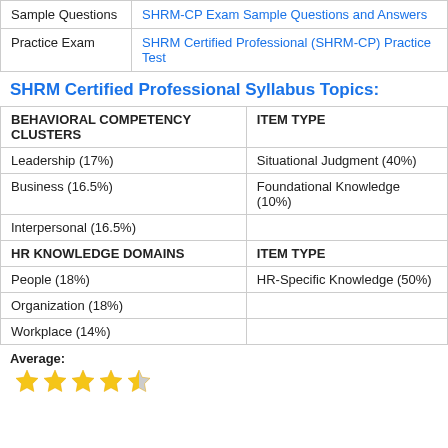|  |  |
| --- | --- |
| Sample Questions | SHRM-CP Exam Sample Questions and Answers |
| Practice Exam | SHRM Certified Professional (SHRM-CP) Practice Test |
SHRM Certified Professional Syllabus Topics:
| BEHAVIORAL COMPETENCY CLUSTERS | ITEM TYPE |
| --- | --- |
| Leadership (17%) | Situational Judgment (40%) |
| Business (16.5%) | Foundational Knowledge (10%) |
| Interpersonal (16.5%) |  |
| HR KNOWLEDGE DOMAINS | ITEM TYPE |
| People (18%) | HR-Specific Knowledge (50%) |
| Organization (18%) |  |
| Workplace (14%) |  |
Average: